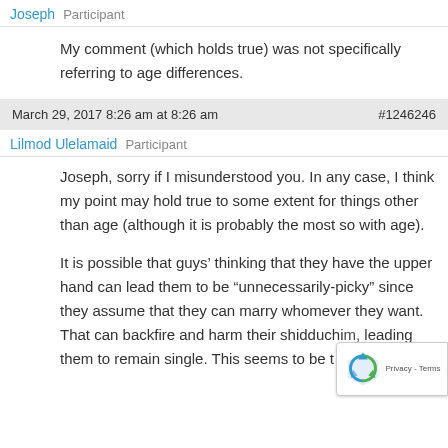Joseph  Participant
My comment (which holds true) was not specifically referring to age differences.
March 29, 2017 8:26 am at 8:26 am   #1246246
Lilmod Ulelamaid  Participant
Joseph, sorry if I misunderstood you. In any case, I think my point may hold true to some extent for things other than age (although it is probably the most so with age).
It is possible that guys' thinking that they have the upper hand can lead them to be “unningessarily-picky” since they assume that they can marry whomever they want. That can backfire and harm their shidduchim, leading them to remain single. This seems to be t...